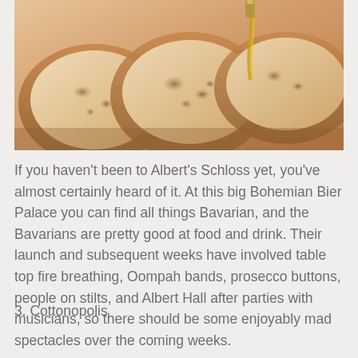[Figure (photo): Close-up photograph of sliced rustic bread loaves with olive oil being poured, warm golden-brown tones.]
If you haven't been to Albert's Schloss yet, you've almost certainly heard of it. At this big Bohemian Bier Palace you can find all things Bavarian, and the Bavarians are pretty good at food and drink. Their launch and subsequent weeks have involved table top fire breathing, Oompah bands, prosecco buttons, people on stilts, and Albert Hall after parties with musicians, so there should be some enjoyably mad spectacles over the coming weeks.
3. Cottonopolis